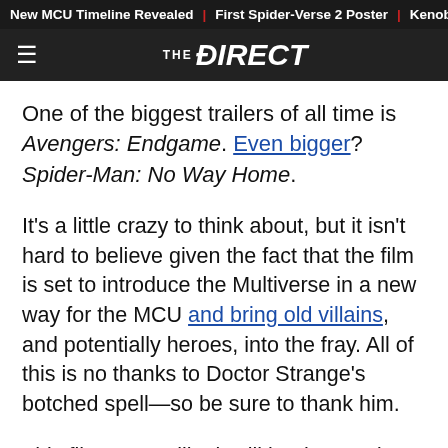New MCU Timeline Revealed | First Spider-Verse 2 Poster | Kenob
THE DIRECT
One of the biggest trailers of all time is Avengers: Endgame. Even bigger? Spider-Man: No Way Home.
It's a little crazy to think about, but it isn't hard to believe given the fact that the film is set to introduce the Multiverse in a new way for the MCU and bring old villains, and potentially heroes, into the fray. All of this is no thanks to Doctor Strange's botched spell—so be sure to thank him.
This film seems like it will be the good doctor's